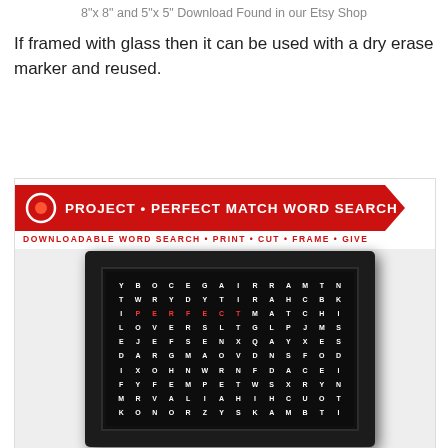8"x 8" and 5"x 5" Download Found in our Etsy Shop
If framed with glass then it can be used with a dry erase marker and reused.
[Figure (photo): A framed word search puzzle titled 'Project Perfect Match Word Search' with a red ribbon banner header showing 'DOWNLOADABLE WORD SEARCH • PRINT • CUT • FRAME • GIVE'. Inside a black frame is a dark word search grid with white letters. The word PERFECT is highlighted in red in one of the rows.]